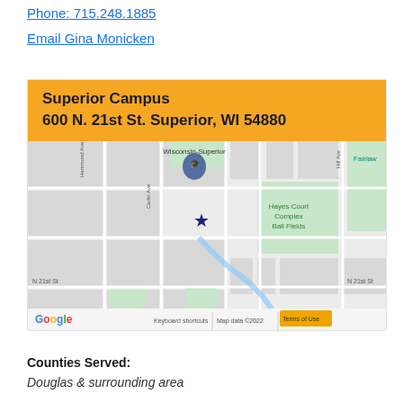Phone: 715.248.1885
Email Gina Monicken
Superior Campus
600 N. 21st St. Superior, WI 54880
[Figure (map): Google Map showing the location of Superior Campus at 600 N. 21st St., Superior, WI 54880. The map shows streets including Hammond Ave, Carlin Ave, Hill Ave, and N 21st St. A star marker indicates the campus location. A location pin for University of Wisconsin-Superior is visible. Hayes Court Complex Ball Fields and Fairlawn are labeled. Google branding and 'Keyboard shortcuts | Map data ©2022 | Terms of Use' appear at the bottom.]
Counties Served:
Douglas & surrounding area